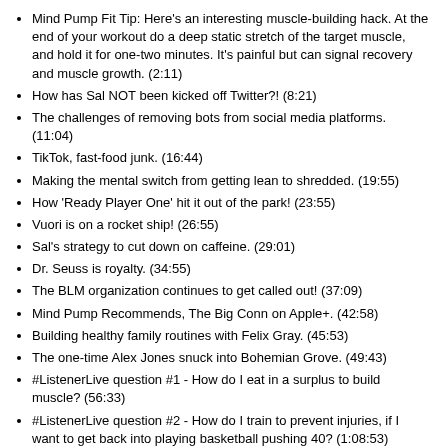Mind Pump Fit Tip: Here's an interesting muscle-building hack. At the end of your workout do a deep static stretch of the target muscle, and hold it for one-two minutes. It's painful but can signal recovery and muscle growth. (2:11)
How has Sal NOT been kicked off Twitter?! (8:21)
The challenges of removing bots from social media platforms. (11:04)
TikTok, fast-food junk. (16:44)
Making the mental switch from getting lean to shredded. (19:55)
How 'Ready Player One' hit it out of the park! (23:55)
Vuori is on a rocket ship! (26:55)
Sal's strategy to cut down on caffeine. (29:01)
Dr. Seuss is royalty. (34:55)
The BLM organization continues to get called out! (37:09)
Mind Pump Recommends, The Big Conn on Apple+. (42:58)
Building healthy family routines with Felix Gray. (45:53)
The one-time Alex Jones snuck into Bohemian Grove. (49:43)
#ListenerLive question #1 - How do I eat in a surplus to build muscle? (56:33)
#ListenerLive question #2 - How do I train to prevent injuries, if I want to get back into playing basketball pushing 40? (1:08:53)
#ListenerLive question #3 - How can I best implement mobility work into a client's session to make it engaging for them, and want to keep practicing/improving in the long run? (1:22:13)
#ListenerLive question #4 - What is the best way to incorporate